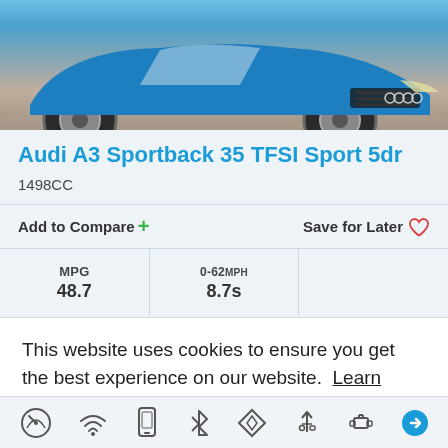[Figure (photo): Blue Audi A3 Sportback car photographed from the front, parked on a reddish-brown surface. The top portion of the car is visible showing the hood, headlights, grille, and front wheel.]
Audi A3 Sportback 35 TFSI Sport 5dr
1498CC
Add to Compare +    Save for Later ♡
| MPG | 0-62MPH |  |
| --- | --- | --- |
| 48.7 | 8.7s |  |
This website uses cookies to ensure you get the best experience on our website. Learn more
Got it!
[Figure (illustration): Row of feature icons at the bottom: speedometer, wifi/connectivity, mobile phone, bluetooth, navigation/map, USB, and engine/car service icon with a blue arrow on the right edge.]